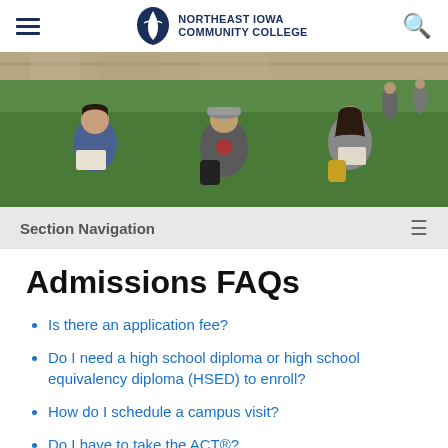Northeast Iowa Community College — Navigation header with logo, hamburger menu, and search icon
[Figure (photo): Three college students sitting on grass outdoors studying, with a stone wall and green lawn in the background]
Section Navigation
Admissions FAQs
Is there an application fee?
Do I need a high school diploma or high school equivalency diploma (HSED) to enroll?
How do I schedule a campus visit?
Do I have to take the ACT®?